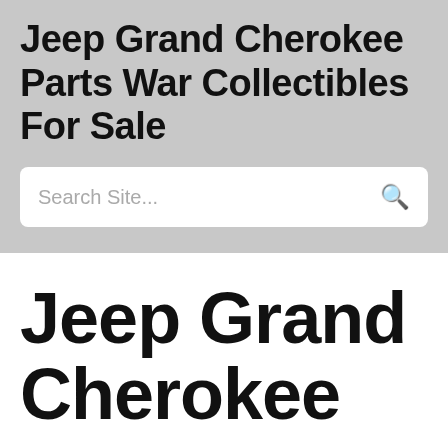Jeep Grand Cherokee Parts War Collectibles For Sale
Search Site...
Jeep Grand Cherokee